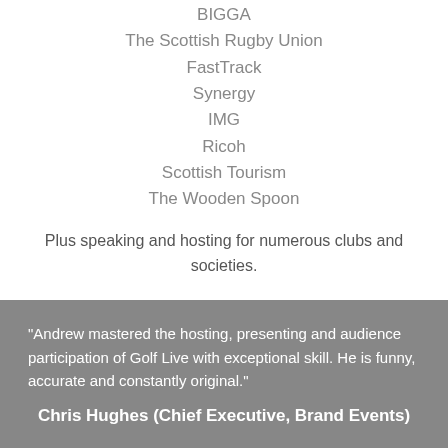BIGGA
The Scottish Rugby Union
FastTrack
Synergy
IMG
Ricoh
Scottish Tourism
The Wooden Spoon
Plus speaking and hosting for numerous clubs and societies.
"Andrew mastered the hosting, presenting and audience participation of Golf Live with exceptional skill. He is funny, accurate and constantly original." Chris Hughes (Chief Executive, Brand Events)